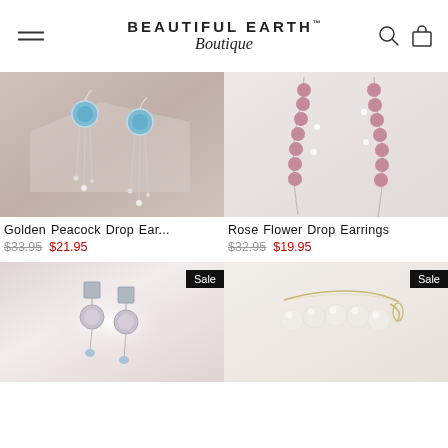BEAUTIFUL EARTH™ Boutique
[Figure (photo): Golden Peacock Drop Earrings with blue spheres and silver chain drops on beige background]
[Figure (photo): Rose Flower Drop Earrings with pink flower beads and silver wire on white background]
Golden Peacock Drop Ear...
$33.95  $21.95
Rose Flower Drop Earrings
$32.95  $19.95
[Figure (photo): Sale - Gray square drop earrings with round moonstone on silky background]
[Figure (photo): Sale - Pearl bracelet with gold chain clasp on white background]